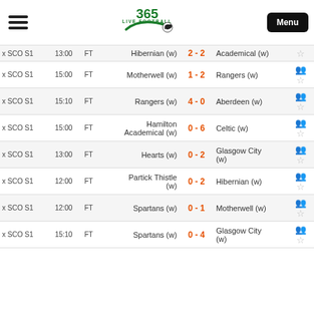365 LIVE FOOTBALL — Menu
| League | Time | Status | Home | Score | Away | Icons |
| --- | --- | --- | --- | --- | --- | --- |
| x SCO S1 | 13:00 | FT | Hibernian (w) | 2 - 2 | Academical (w) |  |
| x SCO S1 | 15:00 | FT | Motherwell (w) | 1 - 2 | Rangers (w) |  |
| x SCO S1 | 15:10 | FT | Rangers (w) | 4 - 0 | Aberdeen (w) |  |
| x SCO S1 | 15:00 | FT | Hamilton Academical (w) | 0 - 6 | Celtic (w) |  |
| x SCO S1 | 13:00 | FT | Hearts (w) | 0 - 2 | Glasgow City (w) |  |
| x SCO S1 | 12:00 | FT | Partick Thistle (w) | 0 - 2 | Hibernian (w) |  |
| x SCO S1 | 12:00 | FT | Spartans (w) | 0 - 1 | Motherwell (w) |  |
| x SCO S1 | 15:10 | FT | Spartans (w) | 0 - 4 | Glasgow City (w) |  |